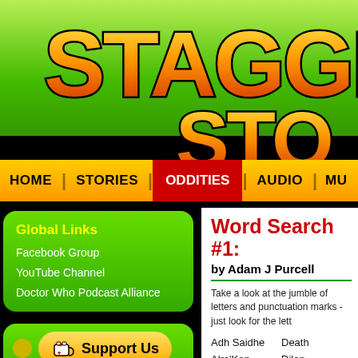[Figure (logo): Stagger Stories website logo banner with large orange/yellow gradient text on green background]
HOME | STORIES | ODDITIES | AUDIO | MU
Global Links
Facebook Group
YouTube Channel
Doctor Who Podcast Alliance
[Figure (infographic): Support Us button with coffee cup icon]
Blog
Word Search #1:
by Adam J Purcell
Take a look at the jumble of letters and punctuation marks - just look for the lett
Adh Saidhe
Alra'Kon
Blanche
Death
Dilon
Dorff